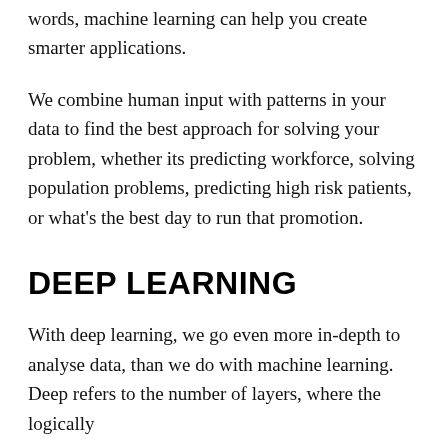words, machine learning can help you create smarter applications.
We combine human input with patterns in your data to find the best approach for solving your problem, whether its predicting workforce, solving population problems, predicting high risk patients, or what's the best day to run that promotion.
DEEP LEARNING
With deep learning, we go even more in-depth to analyse data, than we do with machine learning. Deep refers to the number of layers, where the logically